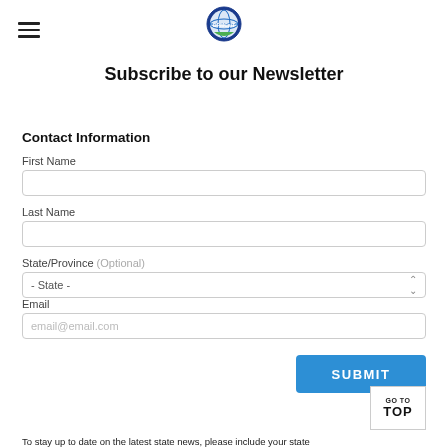[Figure (logo): DPMCaIT circular logo with globe graphic, blue and green colors]
Subscribe to our Newsletter
Contact Information
First Name
Last Name
State/Province (Optional)
Email
SUBMIT
To stay up to date on the latest state news, please include your state